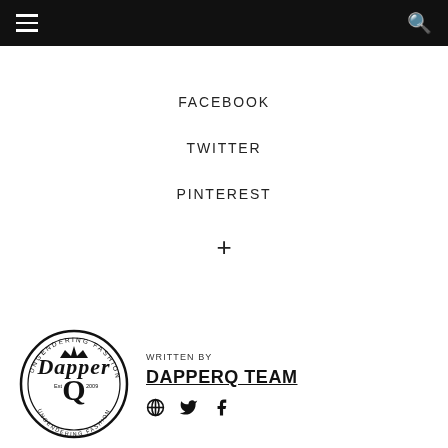Navigation bar with hamburger menu and search icon
FACEBOOK
TWITTER
PINTEREST
+
[Figure (logo): DapperQ circular logo with text 'Dapper Q Est 2009 Ungendering Fashion']
WRITTEN BY
DAPPERQ TEAM